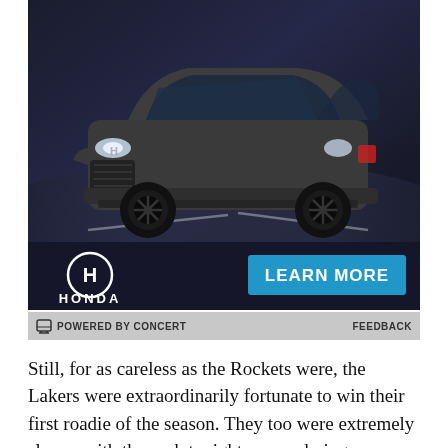[Figure (photo): Honda advertisement showing a dark gray Honda CR-V SUV on a road with dramatic lighting, Honda logo and LEARN MORE button]
POWERED BY CONCERT    FEEDBACK
Still, for as careless as the Rockets were, the Lakers were extraordinarily fortunate to win their first roadie of the season. They too were extremely sloppy with the rock tonight, surrendering an astonishing 24 turnovers and committing 36 fouls. Even without all of the intentional hacking on Howard, the Lakers sent the Rockets to the line 36 times--still twice as much as LA themselves shot free throws.